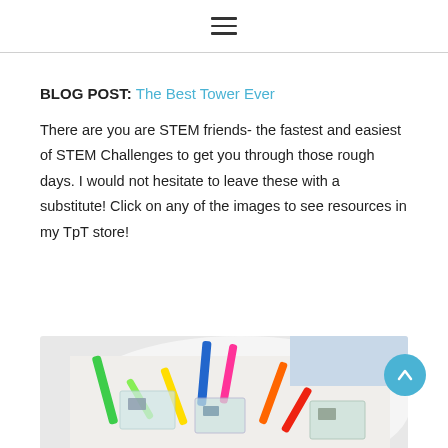☰ (hamburger menu icon)
BLOG POST: The Best Tower Ever
There are you are STEM friends- the fastest and easiest of STEM Challenges to get you through those rough days. I would not hesitate to leave these with a substitute! Click on any of the images to see resources in my TpT store!
[Figure (photo): A white bowl or plate containing colorful plastic straws (green, blue, pink, yellow, orange, red) and small ziplock bags with items inside, likely STEM challenge materials.]